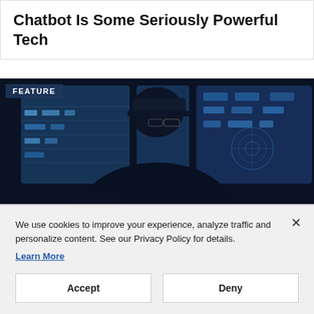Chatbot Is Some Seriously Powerful Tech
[Figure (photo): Person seen from behind sitting at a workstation with multiple large monitors displaying blue-tinted data/surveillance screens. Text label 'FEATURE' in top-left corner.]
We use cookies to improve your experience, analyze traffic and personalize content. See our Privacy Policy for details.
Learn More
Accept
Deny